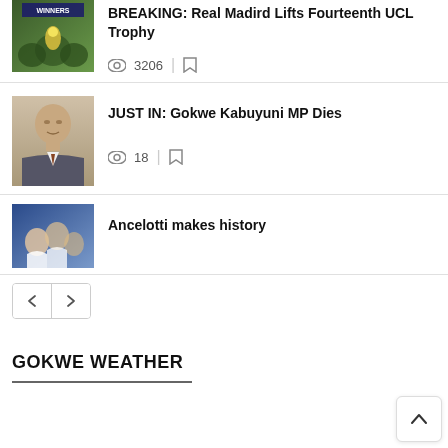[Figure (photo): Soccer team celebrating with WINNERS banner overhead, trophy photo]
BREAKING: Real Madird Lifts Fourteenth UCL Trophy
3206 views
[Figure (photo): Portrait photo of an elderly man in a suit]
JUST IN: Gokwe Kabuyuni MP Dies
18 views
[Figure (photo): Soccer celebration photo]
Ancelotti makes history
Pagination navigation buttons (previous, next)
GOKWE WEATHER